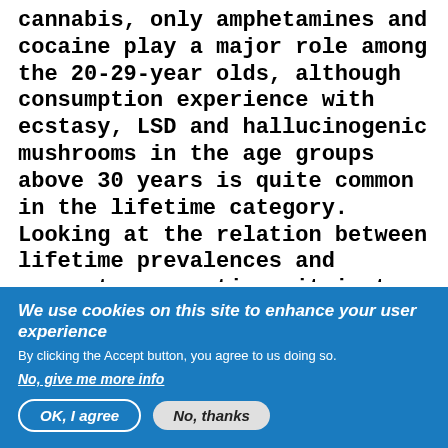cannabis, only amphetamines and cocaine play a major role among the 20-29-year olds, although consumption experience with ecstasy, LSD and hallucinogenic mushrooms in the age groups above 30 years is quite common in the lifetime category. Looking at the relation between lifetime prevalences and current consumption, it is to be assumed that use of these substances is only of a transitional nature in the majority of users."
We use cookies on this site to enhance your user experience
By clicking the Accept button, you agree to us doing so.
No, give me more info
OK, I agree
No, thanks